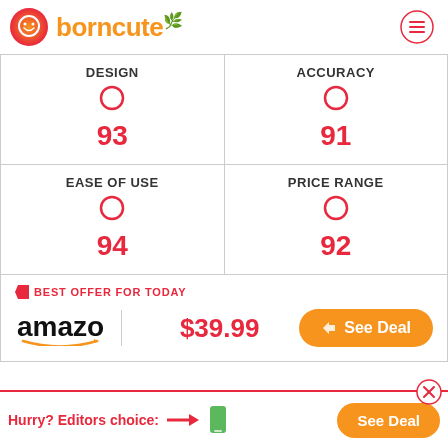[Figure (logo): Borncute logo with orange circle icon and orange text 'borncute' with a leaf/star accent]
| DESIGN | ACCURACY | EASE OF USE | PRICE RANGE |
| --- | --- | --- | --- |
| 93 | 91 | 94 | 92 |
BEST OFFER FOR TODAY
amazon $39.99 See Deal
Hurry? Editors choice: See Deal